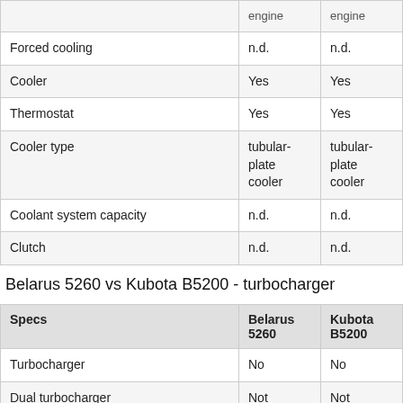|  | engine | engine |
| --- | --- | --- |
| Forced cooling | n.d. | n.d. |
| Cooler | Yes | Yes |
| Thermostat | Yes | Yes |
| Cooler type | tubular-plate cooler | tubular-plate cooler |
| Coolant system capacity | n.d. | n.d. |
| Clutch | n.d. | n.d. |
Belarus 5260 vs Kubota B5200 - turbocharger
| Specs | Belarus 5260 | Kubota B5200 |
| --- | --- | --- |
| Turbocharger | No | No |
| Dual turbocharger | Not applicable | Not applicable |
| Intercooler | Not | Not |